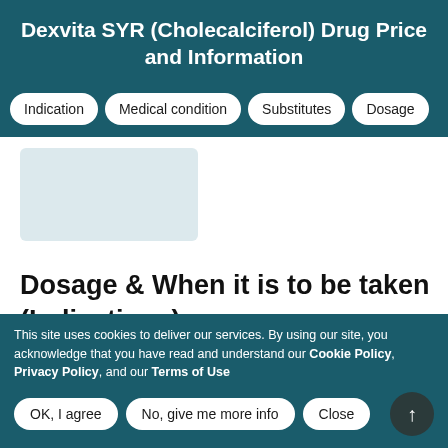Dexvita SYR (Cholecalciferol) Drug Price and Information
Indication | Medical condition | Substitutes | Dosage
[Figure (other): Placeholder image area for drug product]
Dosage & When it is to be taken (Indications)
The recommended dose is 400 to 1000 international units orally once a day
This site uses cookies to deliver our services. By using our site, you acknowledge that you have read and understand our Cookie Policy, Privacy Policy, and our Terms of Use